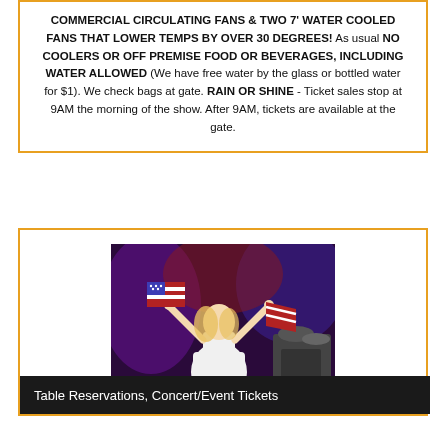COMMERCIAL CIRCULATING FANS & TWO 7' WATER COOLED FANS THAT LOWER TEMPS BY OVER 30 DEGREES! As usual NO COOLERS OR OFF PREMISE FOOD OR BEVERAGES, INCLUDING WATER ALLOWED (We have free water by the glass or bottled water for $1). We check bags at gate. RAIN OR SHINE - Ticket sales stop at 9AM the morning of the show. After 9AM, tickets are available at the gate.
[Figure (photo): A woman in a white dress with arms raised holding an American flag on a concert stage with colorful lighting and drums in the background.]
Table Reservations, Concert/Event Tickets